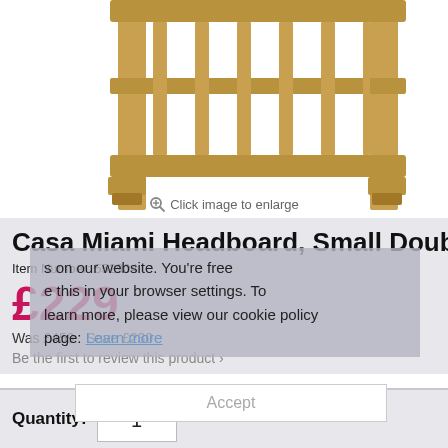[Figure (photo): Wooden headboard product photo, showing a light oak/pine slatted headboard with frame legs, photographed against white background, partial view showing bottom portion.]
Click image to enlarge
Casa Miami Headboard, Small Double
Item Number: 552904
£229
Was £459   Save £230
Be the first to review this product >
Quantity:  1